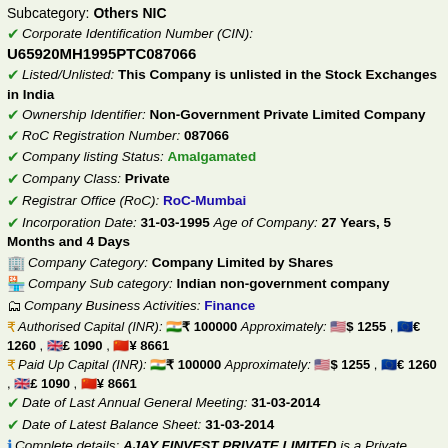Subcategory: Others NIC
Corporate Identification Number (CIN): U65920MH1995PTC087066
Listed/Unlisted: This Company is unlisted in the Stock Exchanges in India
Ownership Identifier: Non-Government Private Limited Company
RoC Registration Number: 087066
Company listing Status: Amalgamated
Company Class: Private
Registrar Office (RoC): RoC-Mumbai
Incorporation Date: 31-03-1995 Age of Company: 27 Years, 5 Months and 4 Days
Company Category: Company Limited by Shares
Company Sub category: Indian non-government company
Company Business Activities: Finance
Authorised Capital (INR): ₹ 100000 Approximately: $ 1255 , € 1260 , £ 1090 , ¥ 8661
Paid Up Capital (INR): ₹ 100000 Approximately: $ 1255 , € 1260 , £ 1090 , ¥ 8661
Date of Last Annual General Meeting: 31-03-2014
Date of Latest Balance Sheet: 31-03-2014
Complete details: AJAY FINVEST PRIVATE LIMITED is a Private company incorporated on 31 March 1995. It is classified as